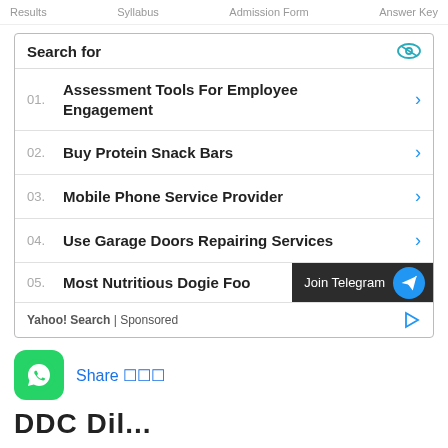Results  Syllabus  Admission Form  Answer Key
Search for
01. Assessment Tools For Employee Engagement
02. Buy Protein Snack Bars
03. Mobile Phone Service Provider
04. Use Garage Doors Repairing Services
05. Most Nutritious Dogie Foo...
Yahoo! Search | Sponsored
Join Telegram
Share
DDC Dil...